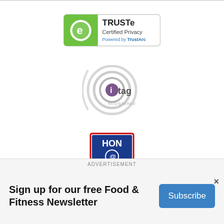[Figure (logo): TRUSTe Certified Privacy badge - Powered by TrustArc]
[Figure (logo): TAG Registered logo - circular signal icon with 'tag' text and 'REGISTERED' below]
[Figure (logo): HON Code Certified 08/2020 badge - blue and red square badge]
AdChoices ▷
© 2005 - 2022 WebMD LLC. All rights reserved.
ADVERTISEMENT
Sign up for our free Food & Fitness Newsletter